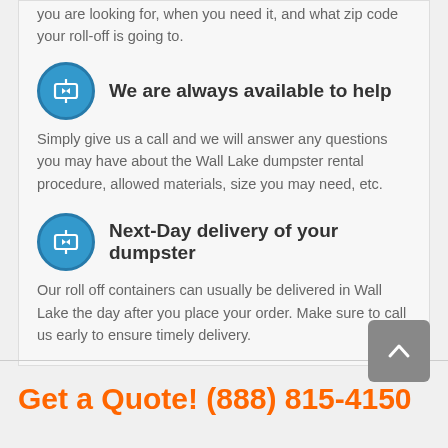you are looking for, when you need it, and what zip code your roll-off is going to.
We are always available to help
Simply give us a call and we will answer any questions you may have about the Wall Lake dumpster rental procedure, allowed materials, size you may need, etc.
Next-Day delivery of your dumpster
Our roll off containers can usually be delivered in Wall Lake the day after you place your order. Make sure to call us early to ensure timely delivery.
Get a Quote! (888) 815-4150